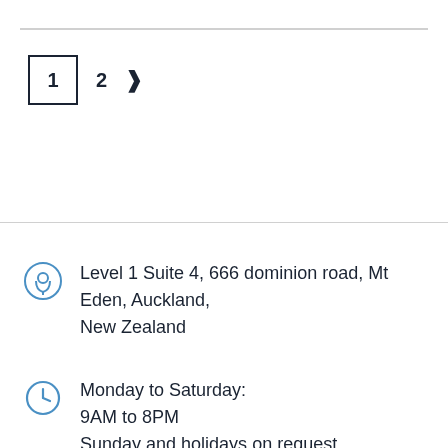[Figure (other): Pagination control showing page 1 selected (boxed), page 2, and a right arrow]
Level 1 Suite 4, 666 dominion road, Mt Eden, Auckland, New Zealand
Monday to Saturday:
9AM to 8PM
Sunday and holidays on request